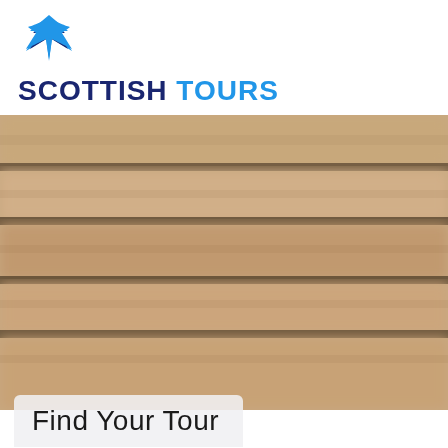[Figure (logo): Scottish Tours logo with blue thistle-like icon above the text 'SCOTTISH TOURS' where SCOTTISH is dark navy and TOURS is bright blue]
[Figure (photo): Blurred close-up photo of horizontal wooden planks or boards with warm tan and brown tones, serving as a hero background image]
Find Your Tour